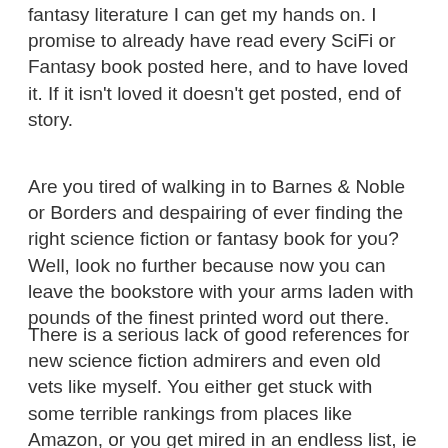fantasy literature I can get my hands on. I promise to already have read every SciFi or Fantasy book posted here, and to have loved it. If it isn't loved it doesn't get posted, end of story.
Are you tired of walking in to Barnes & Noble or Borders and despairing of ever finding the right science fiction or fantasy book for you? Well, look no further because now you can leave the bookstore with your arms laden with pounds of the finest printed word out there.
There is a serious lack of good references for new science fiction admirers and even old vets like myself. You either get stuck with some terrible rankings from places like Amazon, or you get mired in an endless list, ie "TOP 100 SciFi Books of All Time" that don't say much besides giving the name and author, because we all know that's is going to do you a lot of good.
No more throwing darts in the dark and hoping to find a gem, I will provide you with the treasure chest full of sparkling rubies, sapphires, and diamonds. And for those of you who